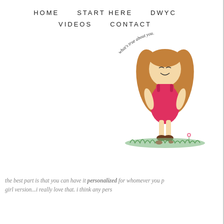HOME   START HERE   DWYC   VIDEOS   CONTACT
[Figure (illustration): Hand-drawn illustration of a little girl with brown hair wearing a red dress, standing on green grass with a small flower nearby. Curved text above reads 'what's true about you.']
the best part is that you can have it personalized for whomever you p girl version...i really love that. i think any pers